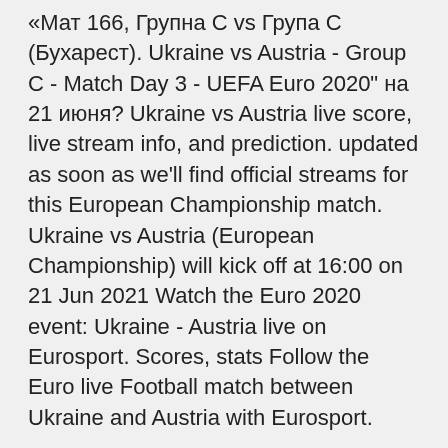«Мат 166, Групна С vs Група С (Бухарест). Ukraine vs Austria - Group C - Match Day 3 - UEFA Euro 2020" на 21 июня? Ukraine vs Austria live score, live stream info, and prediction. updated as soon as we'll find official streams for this European Championship match. Ukraine vs Austria (European Championship) will kick off at 16:00 on 21 Jun 2021 Watch the Euro 2020 event: Ukraine - Austria live on Eurosport. Scores, stats Follow the Euro live Football match between Ukraine and Austria with Eurosport.
There were two recent matches between Ukraine and Austria, and the teams won one match each.